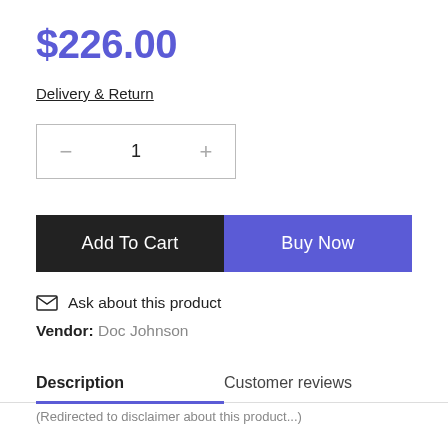$226.00
Delivery & Return
1
Add To Cart
Buy Now
Ask about this product
Vendor: Doc Johnson
Description
Customer reviews
(Redirected to disclaimer about this product...)